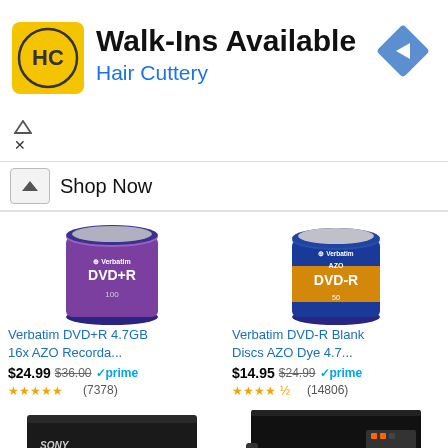[Figure (screenshot): Hair Cuttery advertisement banner with HC logo, Walk-Ins Available text, navigation arrow diamond, and ad controls]
Shop Now
[Figure (photo): Verbatim DVD+R 4.7GB spindle of 100 discs, purple packaging]
Verbatim DVD+R 4.7GB 16x AZO Recorda...
$24.99 $36.00 prime (7378)
[Figure (photo): Verbatim DVD-R AZO Blank Discs spindle of 50, blue and gold packaging]
Verbatim DVD-R Blank Discs AZO Dye 4.7...
$14.95 $24.99 prime (14806)
[Figure (photo): Sony DVD player, thin black design, viewed from front angle]
[Figure (photo): Black DVD player with remote control, angled view]